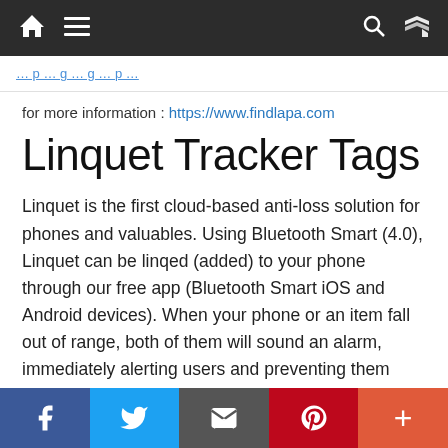Navigation bar with home, menu, search, and shuffle icons
for more information : https://www.findlapa.com
Linquet Tracker Tags
Linquet is the first cloud-based anti-loss solution for phones and valuables. Using Bluetooth Smart (4.0), Linquet can be linqed (added) to your phone through our free app (Bluetooth Smart iOS and Android devices). When your phone or an item fall out of range, both of them will sound an alarm, immediately alerting users and preventing them from losing or misplacing their phone, keys, wallet, tablets, bikes, pets, kids, etc. Just in case you can't
Social share bar: Facebook, Twitter, Email, Pinterest, More